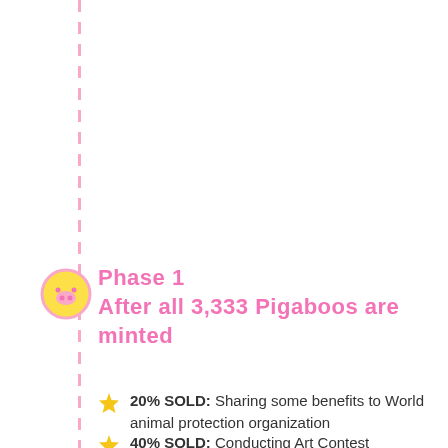Phase 1
After all 3,333 Pigaboos are minted
20% SOLD: Sharing some benefits to World animal protection organization
40% SOLD: Conducting Art Contest